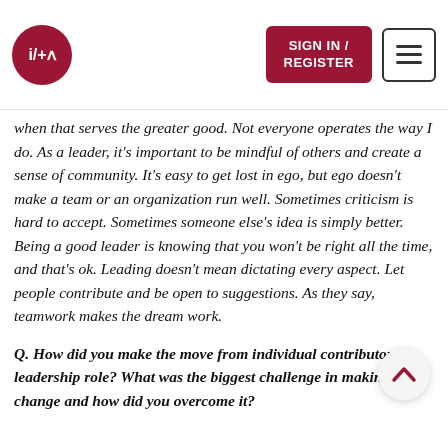i/+a | SIGN IN / REGISTER
when that serves the greater good. Not everyone operates the way I do. As a leader, it's important to be mindful of others and create a sense of community. It's easy to get lost in ego, but ego doesn't make a team or an organization run well. Sometimes criticism is hard to accept. Sometimes someone else's idea is simply better. Being a good leader is knowing that you won't be right all the time, and that's ok. Leading doesn't mean dictating every aspect. Let people contribute and be open to suggestions. As they say, teamwork makes the dream work.
Q. How did you make the move from individual contributor to leadership role? What was the biggest challenge in making that change and how did you overcome it?